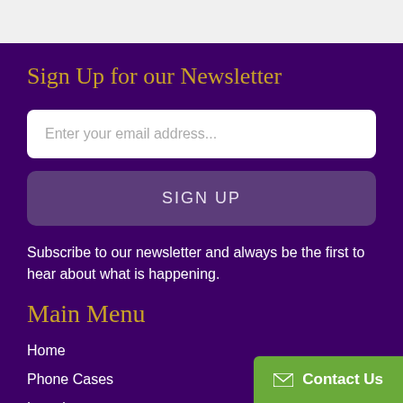Sign Up for our Newsletter
Enter your email address...
SIGN UP
Subscribe to our newsletter and always be the first to hear about what is happening.
Main Menu
Home
Phone Cases
Locations
Reviews
Contact Us